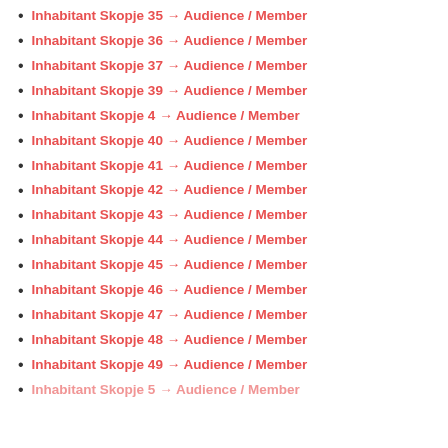Inhabitant Skopje 35 → Audience / Member
Inhabitant Skopje 36 → Audience / Member
Inhabitant Skopje 37 → Audience / Member
Inhabitant Skopje 39 → Audience / Member
Inhabitant Skopje 4 → Audience / Member
Inhabitant Skopje 40 → Audience / Member
Inhabitant Skopje 41 → Audience / Member
Inhabitant Skopje 42 → Audience / Member
Inhabitant Skopje 43 → Audience / Member
Inhabitant Skopje 44 → Audience / Member
Inhabitant Skopje 45 → Audience / Member
Inhabitant Skopje 46 → Audience / Member
Inhabitant Skopje 47 → Audience / Member
Inhabitant Skopje 48 → Audience / Member
Inhabitant Skopje 49 → Audience / Member
Inhabitant Skopje 5 → Audience / Member